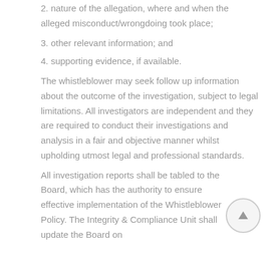2. nature of the allegation, where and when the alleged misconduct/wrongdoing took place;
3. other relevant information; and
4. supporting evidence, if available.
The whistleblower may seek follow up information about the outcome of the investigation, subject to legal limitations. All investigators are independent and they are required to conduct their investigations and analysis in a fair and objective manner whilst upholding utmost legal and professional standards.
All investigation reports shall be tabled to the Board, which has the authority to ensure effective implementation of the Whistleblower Policy. The Integrity & Compliance Unit shall update the Board on